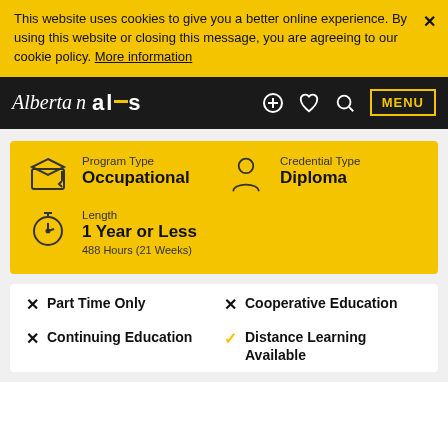This website uses cookies to give you a better online experience. By using this website or closing this message, you are agreeing to our cookie policy. More information
Alberta alis — MENU
Program Type: Occupational | Credential Type: Diploma | Length: 1 Year or Less, 488 Hours (21 Weeks)
✗ Part Time Only
✗ Cooperative Education
✗ Continuing Education
✓ Distance Learning Available